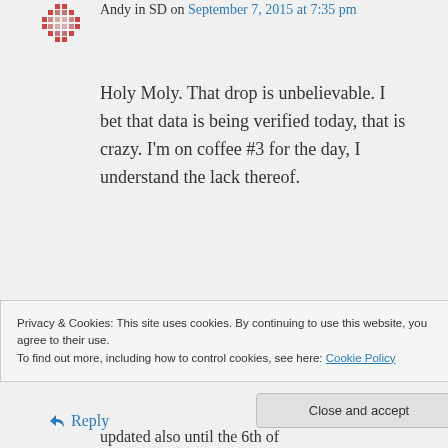Andy in SD on September 7, 2015 at 7:35 pm
Holy Moly. That drop is unbelievable. I bet that data is being verified today, that is crazy. I'm on coffee #3 for the day, I understand the lack thereof.
Like
Reply
Privacy & Cookies: This site uses cookies. By continuing to use this website, you agree to their use. To find out more, including how to control cookies, see here: Cookie Policy
Close and accept
updated also until the 6th of